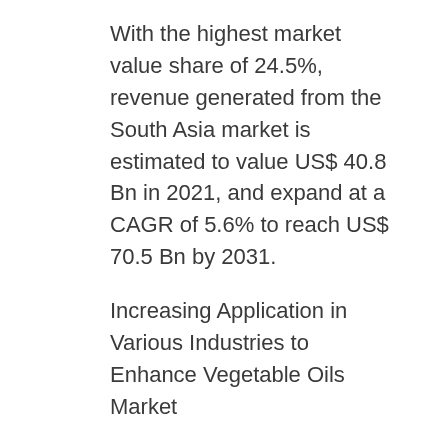With the highest market value share of 24.5%, revenue generated from the South Asia market is estimated to value US$ 40.8 Bn in 2021, and expand at a CAGR of 5.6% to reach US$ 70.5 Bn by 2031.
Increasing Application in Various Industries to Enhance Vegetable Oils Market
Vegetable oils are increasingly being used to make a variety of food and feed items. Vegetable oils are utilized in place of animal-based fats and oils, making food items healthier and more nutritious. The rising use of vegetable oils in...